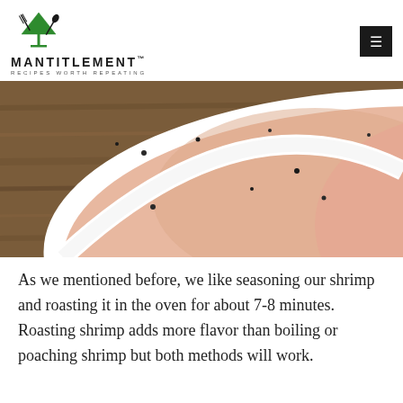MANTITLEMENT™ RECIPES WORTH REPEATING
[Figure (photo): Close-up photo of a white bowl containing a creamy pinkish sauce or soup with black pepper specks, set on a wooden surface]
As we mentioned before, we like seasoning our shrimp and roasting it in the oven for about 7-8 minutes. Roasting shrimp adds more flavor than boiling or poaching shrimp but both methods will work.